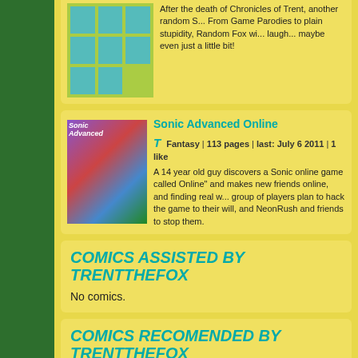After the death of Chronicles of Trent, another random S... From Game Parodies to plain stupidity, Random Fox wi... laugh... maybe even just a little bit!
Sonic Advanced Online
Fantasy | 113 pages | last: July 6 2011 | 1 like
A 14 year old guy discovers a Sonic online game called Online" and makes new friends online, and finding real w... group of players plan to hack the game to their will, and NeonRush and friends to stop them.
COMICS ASSISTED BY TRENTTHEFOX
No comics.
COMICS RECOMENDED BY TRENTTHEFOX
Animania
Imagine a world in which your favorite manga and anime ch... fighting against each other. In the world of Animania, an e...